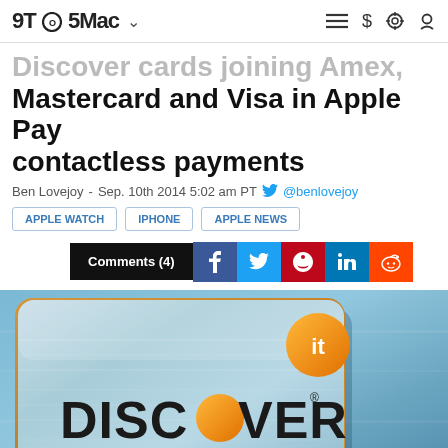9TO5Mac
Discover cards joining Amex, Mastercard and Visa in Apple Pay contactless payments
Ben Lovejoy - Sep. 10th 2014 5:02 am PT @benlovejoy
APPLE WATCH
IPHONE
APPLE NEWS
Comments (4)
[Figure (photo): Discover 'it' credit card on blue background]